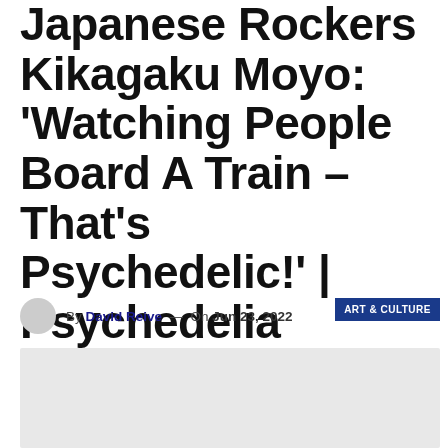Japanese Rockers Kikagaku Moyo: 'Watching People Board A Train – That's Psychedelic!' | Psychedelia
By David Reive — On Jun 23, 2022
[Figure (photo): Gray placeholder image rectangle at the bottom of the article page]